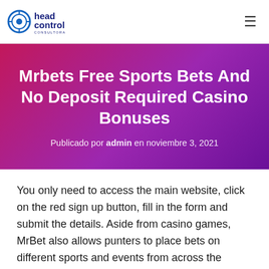head control consultora
Mrbets Free Sports Bets And No Deposit Required Casino Bonuses
Publicado por admin en noviembre 3, 2021
You only need to access the main website, click on the red sign up button, fill in the form and submit the details. Aside from casino games, MrBet also allows punters to place bets on different sports and events from across the world. Some of the sports that you can pick from include; Football,